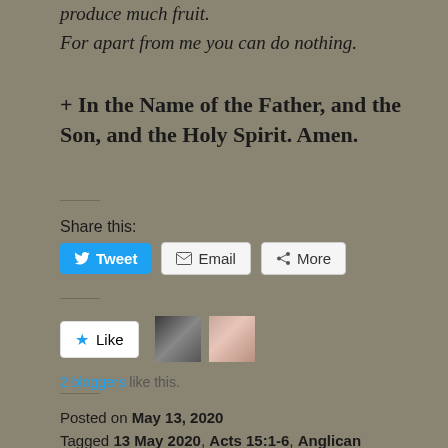produce much fruit.
For apart from me you can do nothing.
+ In the Name of the Father, and the Son, and the Holy Spirit. Amen.
Share this:
[Figure (screenshot): Share buttons: Tweet (blue Twitter button), Email (outline button with envelope icon), More (outline button with share icon)]
[Figure (screenshot): Like button with star icon, two blogger avatar thumbnails]
2 bloggers like this.
Posted on May 13, 2020
Tagged 13 May 2020, Acts 15:1-6, Anglican Church in North America, apart from me you can do nothing, jesus, Jesus the True Vine, John 15:1-8, Morning Prayer, Psalm 122, The Council at Jerusalem, USCCB Daily Readings, Wednesday of